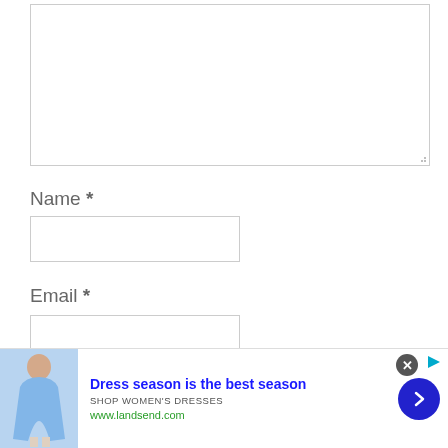[Figure (screenshot): A large empty comment textarea with a resize handle at the bottom-right corner]
Name *
[Figure (screenshot): An empty text input field for Name]
Email *
[Figure (screenshot): An empty text input field for Email]
[Figure (screenshot): Advertisement banner: 'Dress season is the best season' by Lands End - SHOP WOMEN'S DRESSES, www.landsend.com, with a woman in a blue dress, a close button, and a next arrow button]